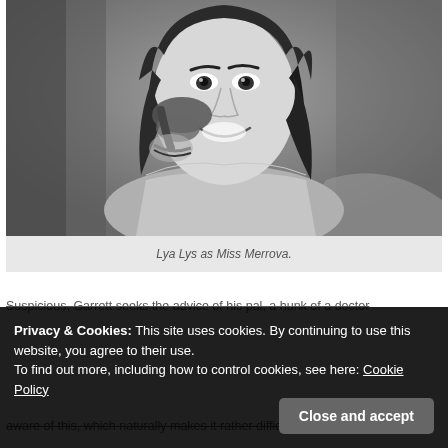[Figure (photo): Black and white photograph of a woman (Lya Lys) smiling, holding an old-fashioned telephone receiver to her ear, wearing bracelets, seated in a chair. Background is blurred.]
Lya Lys as Miss Merrova.
Suspicious, Garrett seeks the advice of his pal, a hunk of a doctor
Privacy & Cookies: This site uses cookies. By continuing to use this website, you agree to their use. To find out more, including how to control cookies, see here: Cookie Policy
aware of this, which naturally makes it rather difficult to supply